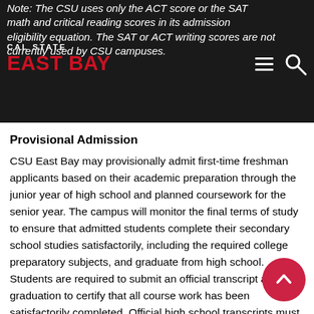Note: The CSU uses only the ACT score or the SAT math and critical reading scores in its admission eligibility equation. The SAT or ACT writing scores are not currently used by CSU campuses.
[Figure (logo): Cal State East Bay logo — white text 'CAL STATE' above red bold text 'EAST BAY' on dark background]
Provisional Admission
CSU East Bay may provisionally admit first-time freshman applicants based on their academic preparation through the junior year of high school and planned coursework for the senior year. The campus will monitor the final terms of study to ensure that admitted students complete their secondary school studies satisfactorily, including the required college preparatory subjects, and graduate from high school. Students are required to submit an official transcript after graduation to certify that all course work has been satisfactorily completed. Official high school transcripts must be received prior to deadline set by the University. In no case may documentation of high school graduation be received any